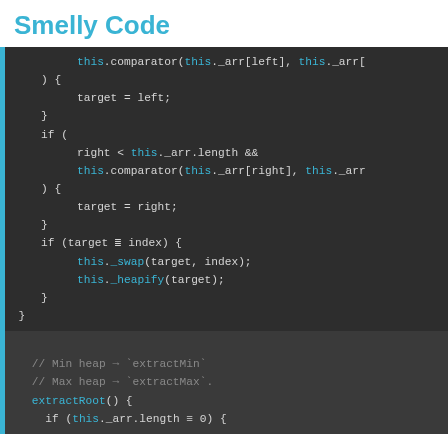Smelly Code
[Figure (screenshot): Dark-themed code editor screenshot showing JavaScript heap code with syntax highlighting. Upper block shows heapify logic with comparator calls, target assignments, and conditional swap/heapify calls. Lower block shows comments about Min heap extractMin and Max heap extractMax, followed by extractRoot() method beginning.]